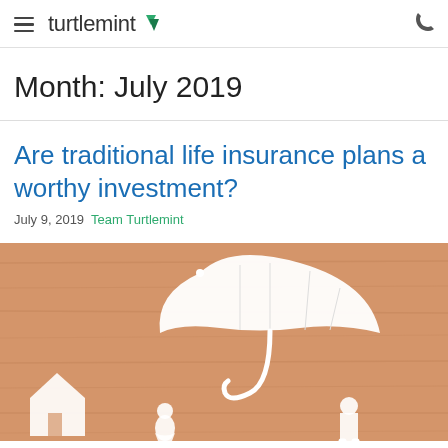turtlemint
Month: July 2019
Are traditional life insurance plans a worthy investment?
July 9, 2019 Team Turtlemint
[Figure (photo): Paper cut-out figures of a family with house under a white umbrella on a wooden background, illustrating life insurance concept]